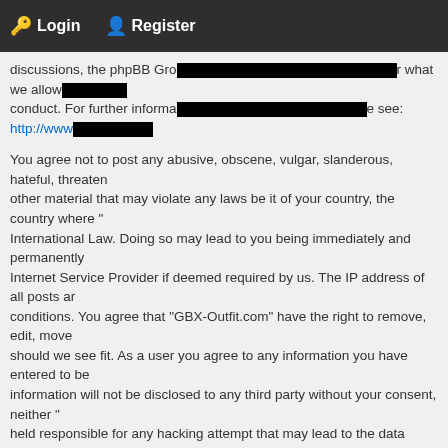🔑 Login  👤 Register
discussions, the phpBB Gro[REDACTED]r what we allow[REDACTED] conduct. For further informa[REDACTED]e see: http://www[REDACTED]
You agree not to post any abusive, obscene, vulgar, slanderous, hateful, threaten other material that may violate any laws be it of your country, the country where International Law. Doing so may lead to you being immediately and permanently Internet Service Provider if deemed required by us. The IP address of all posts a conditions. You agree that "GBX-Outfit.com" have the right to remove, edit, move should we see fit. As a user you agree to any information you have entered to be information will not be disclosed to any third party without your consent, neither held responsible for any hacking attempt that may lead to the data being compro
Back to login screen
Board index   The team • Delete all bo
GBX-Outfit.com
Click to return to Homepage